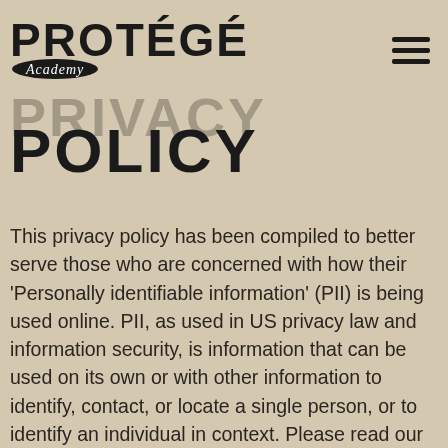PROTÉGÉ Academy
PRIVACY POLICY
This privacy policy has been compiled to better serve those who are concerned with how their 'Personally identifiable information' (PII) is being used online. PII, as used in US privacy law and information security, is information that can be used on its own or with other information to identify, contact, or locate a single person, or to identify an individual in context. Please read our privacy policy carefully to get a clear understanding of how we collect, use, protect or otherwise handle your Personally